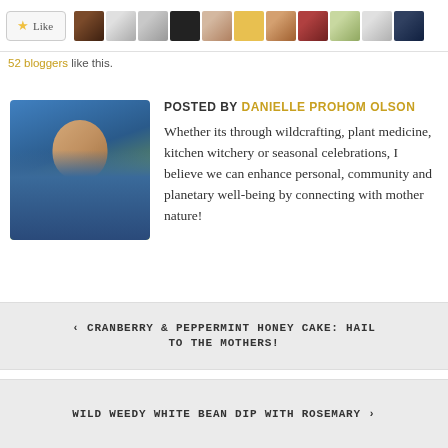[Figure (screenshot): Social like button with star icon and a strip of 11 blogger avatar thumbnails]
52 bloggers like this.
POSTED BY DANIELLE PROHOM OLSON
[Figure (photo): Portrait photo of Danielle Prohom Olson outdoors in blue top]
Whether its through wildcrafting, plant medicine, kitchen witchery or seasonal celebrations, I believe we can enhance personal, community and planetary well-being by connecting with mother nature!
< CRANBERRY & PEPPERMINT HONEY CAKE: HAIL TO THE MOTHERS!
WILD WEEDY WHITE BEAN DIP WITH ROSEMARY >